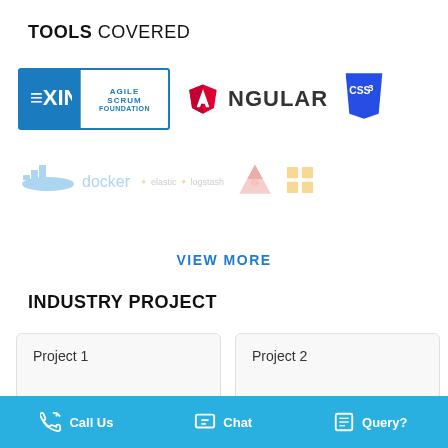TOOLS COVERED
[Figure (logo): EXIN Agile Scrum Foundation logo, Angular logo, CSS3 logo, Docker logo, Elastic/Logstash logo, a faded red pyramid/tent logo, and a faded yellow grid icon]
VIEW MORE
INDUSTRY PROJECT
Project 1
Project 2
Call Us   Chat   Query?